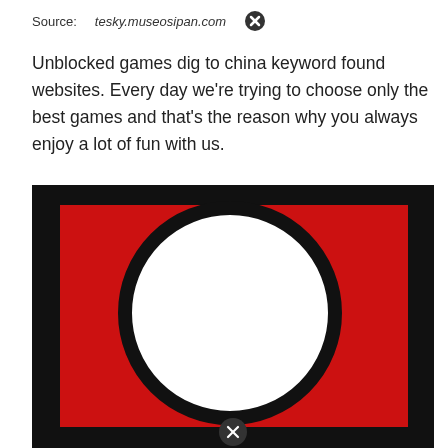Source: tesky.museosipan.com
Unblocked games dig to china keyword found websites. Every day we're trying to choose only the best games and that's the reason why you always enjoy a lot of fun with us.
[Figure (illustration): A graphic showing a red rectangle with a large white circle in the center, surrounded by a thick black border. A close/cancel icon (circle with X) appears at the bottom center of the image.]